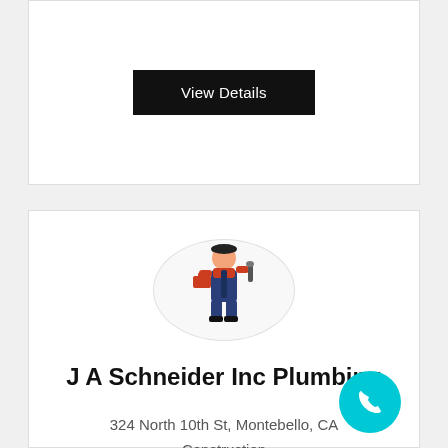[Figure (other): View Details button for previous listing card]
[Figure (illustration): Plumber figure icon in a circular frame — cartoon man in orange shirt and blue overalls holding tools]
J A Schneider Inc Plumbing
324 North 10th St, Montebello, CA
Construction
[Figure (other): View Details button for J A Schneider Inc Plumbing listing]
[Figure (other): Cyan circular phone/call FAB button in lower right corner]